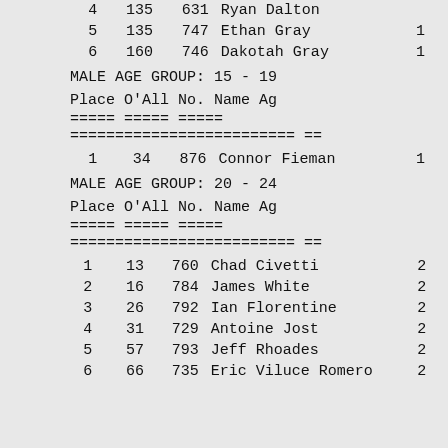| Place | O'All | No. | Name | Ag |
| --- | --- | --- | --- | --- |
| 4 | 135 | 631 | Ryan Dalton |  |
| 5 | 135 | 747 | Ethan Gray | 1 |
| 6 | 160 | 746 | Dakotah Gray | 1 |
MALE AGE GROUP:  15 - 19
Place O'All No.    Name                        Ag
===== ===== ===== ========================= ==
| Place | O'All | No. | Name | Ag |
| --- | --- | --- | --- | --- |
| 1 | 34 | 876 | Connor Fieman | 1 |
MALE AGE GROUP:  20 - 24
Place O'All No.    Name                        Ag
===== ===== ===== ========================= ==
| Place | O'All | No. | Name | Ag |
| --- | --- | --- | --- | --- |
| 1 | 13 | 760 | Chad Civetti | 2 |
| 2 | 16 | 784 | James White | 2 |
| 3 | 26 | 792 | Ian Florentine | 2 |
| 4 | 31 | 729 | Antoine Jost | 2 |
| 5 | 57 | 793 | Jeff Rhoades | 2 |
| 6 | 66 | 735 | Eric Viluce Romero | 2 |